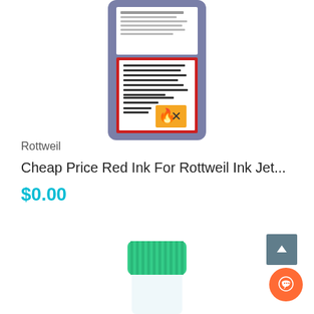[Figure (photo): Top portion of a product image showing a dark blue/grey ink bottle with a white and red label containing Chinese text and a hazard warning symbol]
Rottweil
Cheap Price Red Ink For Rottweil Ink Jet...
$0.00
[Figure (photo): Bottom portion showing the top of another product — a green ribbed cap/lid on what appears to be a transparent bottle]